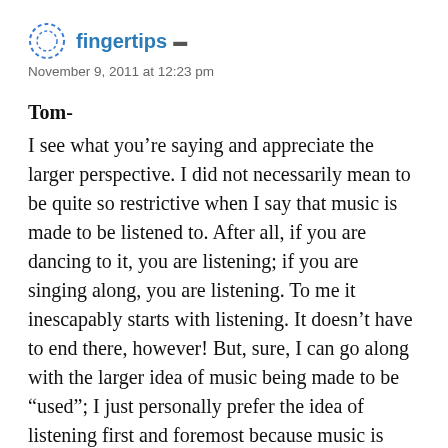fingertips
November 9, 2011 at 12:23 pm
Tom-
I see what you’re saying and appreciate the larger perspective. I did not necessarily mean to be quite so restrictive when I say that music is made to be listened to. After all, if you are dancing to it, you are listening; if you are singing along, you are listening. To me it inescapably starts with listening. It doesn’t have to end there, however! But, sure, I can go along with the larger idea of music being made to be “used”; I just personally prefer the idea of listening first and foremost because music is obviously sound, and sound